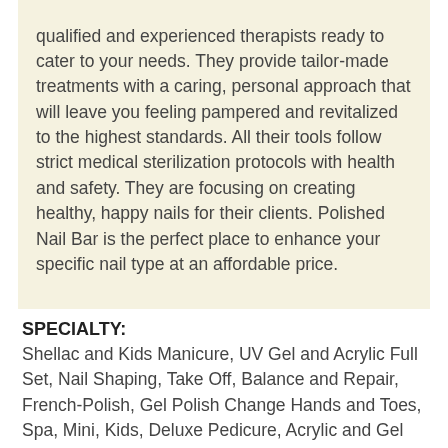qualified and experienced therapists ready to cater to your needs. They provide tailor-made treatments with a caring, personal approach that will leave you feeling pampered and revitalized to the highest standards. All their tools follow strict medical sterilization protocols with health and safety. They are focusing on creating healthy, happy nails for their clients. Polished Nail Bar is the perfect place to enhance your specific nail type at an affordable price.
SPECIALTY:
Shellac and Kids Manicure, UV Gel and Acrylic Full Set, Nail Shaping, Take Off, Balance and Repair, French-Polish, Gel Polish Change Hands and Toes, Spa, Mini, Kids, Deluxe Pedicure, Acrylic and Gel Polish Repair/ Removal & Waxing
facebook.com/sylvaniapoli...
Reviews | Write a Review